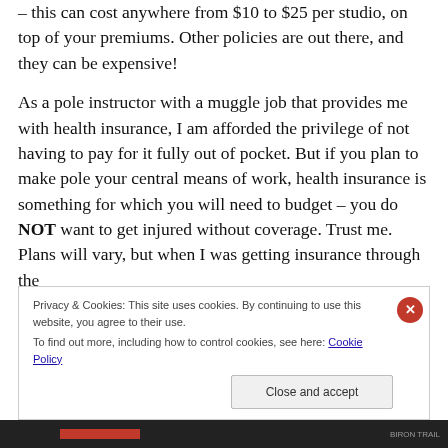sure that you add every studio you teach at to your policy – this can cost anywhere from $10 to $25 per studio, on top of your premiums. Other policies are out there, and they can be expensive!
As a pole instructor with a muggle job that provides me with health insurance, I am afforded the privilege of not having to pay for it fully out of pocket. But if you plan to make pole your central means of work, health insurance is something for which you will need to budget – you do NOT want to get injured without coverage. Trust me. Plans will vary, but when I was getting insurance through the
Privacy & Cookies: This site uses cookies. By continuing to use this website, you agree to their use.
To find out more, including how to control cookies, see here: Cookie Policy